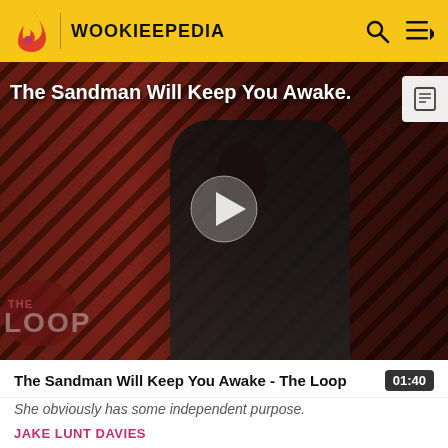WOOKIEEPEDIA
[Figure (screenshot): Video thumbnail showing a person dressed in black with a bird, against a red and black diagonal stripe background. Overlay text reads 'The Sandman Will Keep You Awake.' with a play button in the center and 'THE LOOP' watermark in the lower left. A document icon appears in the upper right corner.]
The Sandman Will Keep You Awake - The Loop    01:40
She obviously has some independent purpose.
JAKE LUNT DAVIES